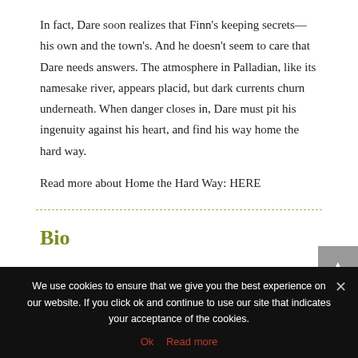In fact, Dare soon realizes that Finn's keeping secrets—his own and the town's. And he doesn't seem to care that Dare needs answers. The atmosphere in Palladian, like its namesake river, appears placid, but dark currents churn underneath. When danger closes in, Dare must pit his ingenuity against his heart, and find his way home the hard way.
Read more about Home the Hard Way: HERE
Bio
We use cookies to ensure that we give you the best experience on our website. If you click ok and continue to use our site that indicates your acceptance of the cookies.
Ok   Read more